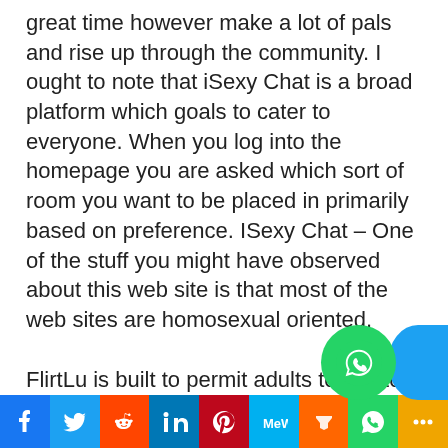great time however make a lot of pals and rise up through the community. I ought to note that iSexy Chat is a broad platform which goals to cater to everyone. When you log into the homepage you are asked which sort of room you want to be placed in primarily based on preference. ISexy Chat – One of the stuff you might have observed about this web site is that most of the web sites are homosexual oriented.
FlirtLu is built to permit adults to talk to beautiful individuals at present by the use of their specific webcams. You are likely to want to get credit to acquire non-public time with other users. The thumbnails make it straightforward to pick who you wish to watch. If you need to see about, you probably can engage freely right from a single space t…